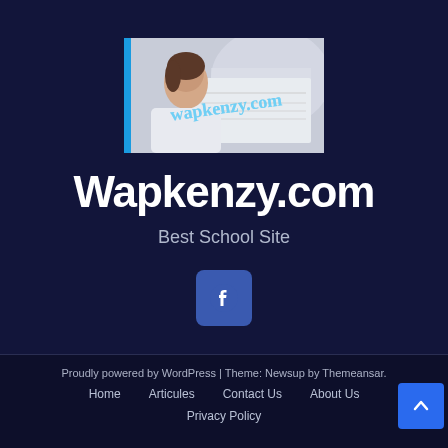[Figure (logo): Wapkenzy.com website logo: woman reading newspaper with blue vertical bar on left and 'wapkenzy.com' text overlaid in blue cursive script]
Wapkenzy.com
Best School Site
[Figure (illustration): Facebook icon button - blue rounded square with white Facebook 'f' logo]
Proudly powered by WordPress | Theme: Newsup by Themeansar.
Home   Articules   Contact Us   About Us
Privacy Policy